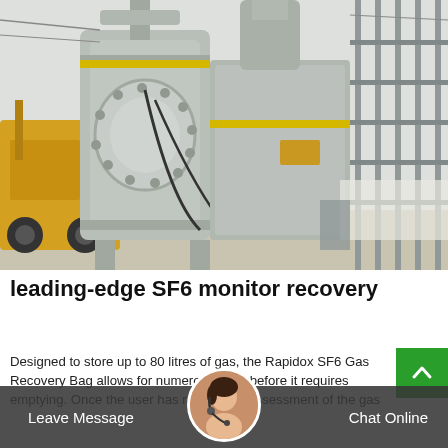[Figure (photo): Industrial electrical substation with large SF6 gas-insulated equipment (transformers/switchgear), scaffolding, and a yellow crane truck on the left side. Gray industrial setting.]
leading-edge SF6 monitor recovery
Designed to store up to 80 litres of gas, the Rapidox SF6 Gas Recovery Bag allows for numerous uses before it requires emptying. Once the user has made their assessment of the gas